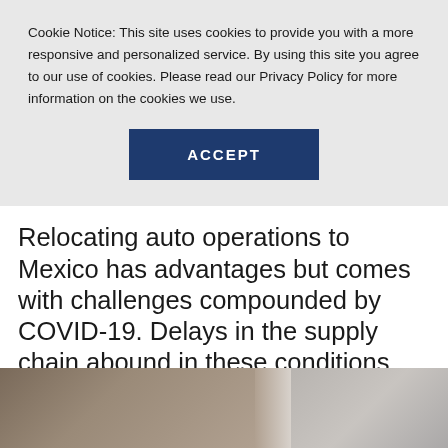Cookie Notice: This site uses cookies to provide you with a more responsive and personalized service. By using this site you agree to our use of cookies. Please read our Privacy Policy for more information on the cookies we use.
ACCEPT
Relocating auto operations to Mexico has advantages but comes with challenges compounded by COVID-19. Delays in the supply chain abound in these conditions, so you'll need to be aware of where the traps lie.
[Figure (photo): Blurred urban/city street photo showing buildings, partially visible at the bottom of the page]